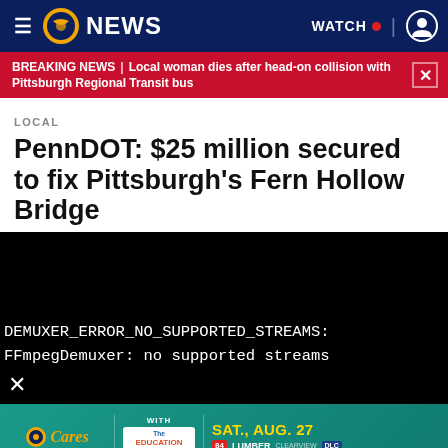≡ WPXI 11 NEWS | WATCH • | user icon
BREAKING NEWS | Local woman dies after head-on collision with Pittsburgh Regional Transit bus
LOCAL
PennDOT: $25 million secured to fix Pittsburgh's Fern Hollow Bridge
[Figure (screenshot): Black video player area with error text: DEMUXER_ERROR_NO_SUPPORTED_STREAMS: FFmpegDemuxer: no supported streams, and a close X button]
[Figure (other): Advertisement banner: WPXI Cares PACK THE BUS WITH The Education Partnership SAT., AUG. 27, logos for 84 LUMBER CLEARVIEW, DLC, HIGHMARK WHOLECARE]